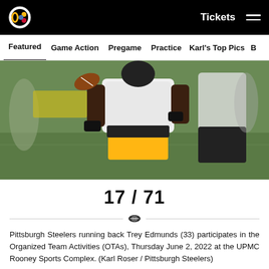Tickets
Featured | Game Action | Pregame | Practice | Karl's Top Pics | B
[Figure (photo): Pittsburgh Steelers running back Trey Edmunds in white jersey and yellow pants carrying a football at OTA practice on green field]
17 / 71
Pittsburgh Steelers running back Trey Edmunds (33) participates in the Organized Team Activities (OTAs), Thursday June 2, 2022 at the UPMC Rooney Sports Complex. (Karl Roser / Pittsburgh Steelers)
Karl Roser/Pittsburgh Steelers
[Figure (photo): Pittsburgh Steelers player wearing black helmet with yellow stripe at practice, partial view from bottom of page]